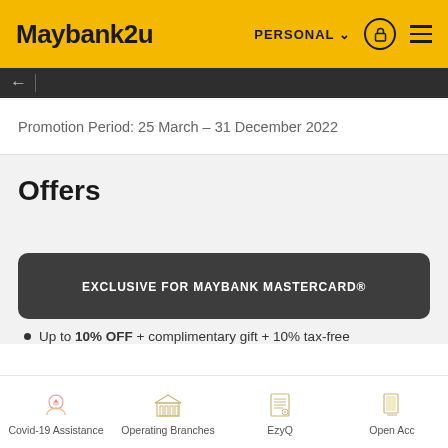Maybank2u — PERSONAL
Promotion Period: 25 March – 31 December 2022
Offers
EXCLUSIVE FOR MAYBANK MASTERCARD®
Up to 10% OFF + complimentary gift + 10% tax-free
Covid-19 Assistance | Operating Branches | EzyQ | Open Acc